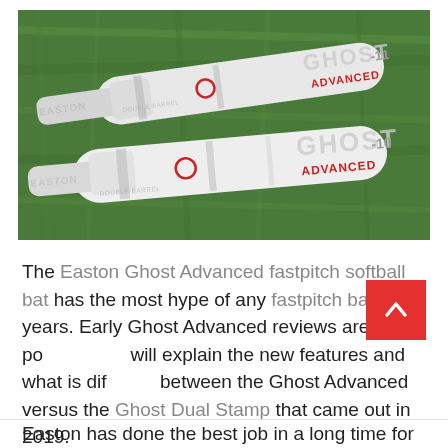[Figure (photo): Two Easton Ghost Advanced fastpitch softball bats lying on grass. The top bat shows 'GHOST ADVANCED -11' branding in gray and red on a white bat. The bottom bat shows 'GHOST ADVANCED -10' branding similarly. Both bats are white with 'EASTON' and 'DOUBLE BARREL' text visible on the handles.]
The Easton Ghost Advanced fastpitch softball bat has the most hype of any fastpitch bat in years. Early Ghost Advanced reviews are highly po[sitive. We] will explain the new features and what is dif[ferent] between the Ghost Advanced versus the Ghost Dual Stamp that came out in 2019.
Easton has done the best job in a long time for it...